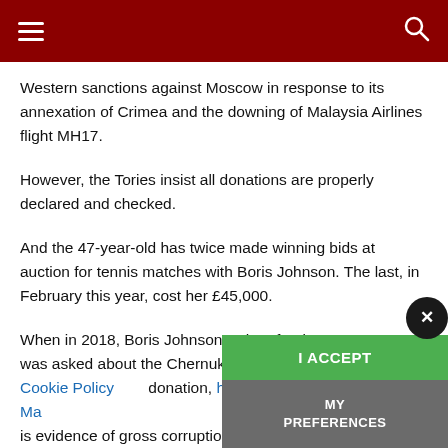BBC News navigation header with hamburger menu and search icon
Western sanctions against Moscow in response to its annexation of Crimea and the downing of Malaysia Airlines flight MH17.
However, the Tories insist all donations are properly declared and checked.
And the 47-year-old has twice made winning bids at auction for tennis matches with Boris Johnson. The last, in February this year, cost her £45,000.
When in 2018, Boris Johnson -- then foreign secretary – was asked about the Chernukhins and the £160, donation, he told the BBC One's Andrew Ma... is evidence of gross corruption in the way that gentleman…